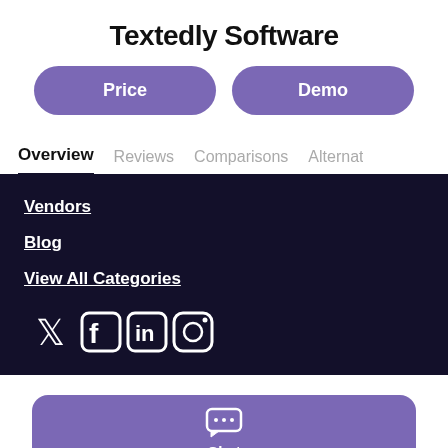Textedly Software
Price
Demo
Overview
Reviews
Comparisons
Alternat
Vendors
Blog
View All Categories
[Figure (infographic): Social media icons: Twitter, Facebook, LinkedIn, Instagram]
Chat